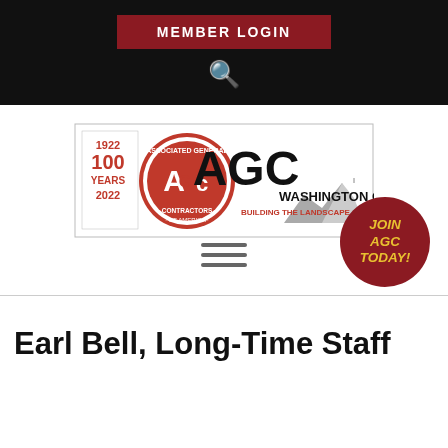MEMBER LOGIN
[Figure (logo): AGC Washington Chapter logo — Associated General Contractors of America, 1922-2022 100 Years, Washington Chapter, Building the Landscape of Washington]
[Figure (infographic): JOIN AGC TODAY! red circle button]
Earl Bell, Long-Time Staff